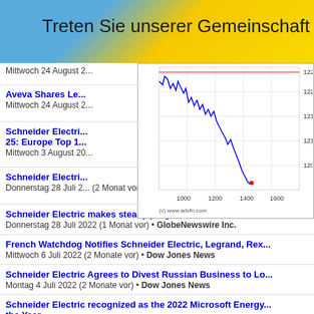Treten Sie unserer Gemeinschaft bei
Mittwoch 24 August 2...
[Figure (continuous-plot): Intraday stock price chart showing price range approximately 120.5 to 122.5, with x-axis from ~800 to ~1800, blue line chart with red horizontal reference line at top, red dot near x=1200. Copyright (c) www.advfn.com]
Aveva Shares Le...
Mittwoch 24 August 2...
Schneider Electri... 25: Europe Top 1...
Mittwoch 3 August 20...
Schneider Electri...
Donnerstag 28 Juli 2... (2 Monat vor) • Dow Jones News
Schneider Electric makes steady progress toward 2025 sus...
Donnerstag 28 Juli 2022 (1 Monat vor) • GlobeNewswire Inc.
French Watchdog Notifies Schneider Electric, Legrand, Rex...
Mittwoch 6 Juli 2022 (2 Monate vor) • Dow Jones News
Schneider Electric Agrees to Divest Russian Business to Lo...
Montag 4 Juli 2022 (2 Monate vor) • Dow Jones News
Schneider Electric recognized as the 2022 Microsoft Energy the Year